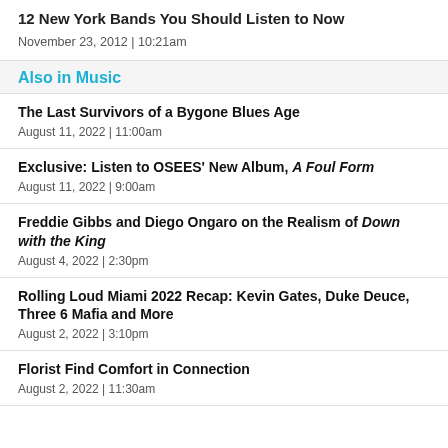12 New York Bands You Should Listen to Now
November 23, 2012  |  10:21am
Also in Music
The Last Survivors of a Bygone Blues Age
August 11, 2022  |  11:00am
Exclusive: Listen to OSEES' New Album, A Foul Form
August 11, 2022  |  9:00am
Freddie Gibbs and Diego Ongaro on the Realism of Down with the King
August 4, 2022  |  2:30pm
Rolling Loud Miami 2022 Recap: Kevin Gates, Duke Deuce, Three 6 Mafia and More
August 2, 2022  |  3:10pm
Florist Find Comfort in Connection
August 2, 2022  |  11:30am